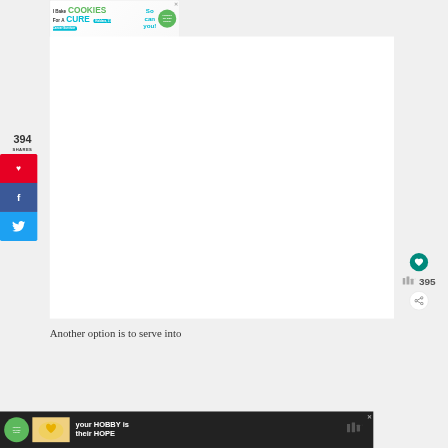[Figure (screenshot): Top banner advertisement: 'I Bake COOKIES For A CURE – So can you! cookies for kids cancer' with a child image and green circle logo]
394
SHARES
[Figure (screenshot): Social share sidebar with Pinterest (red), Facebook (blue), Twitter (light blue) buttons]
[Figure (screenshot): Right side action buttons: heart/save button (teal circle), count area showing 395, share button]
Another option is to serve into
[Figure (screenshot): Bottom banner advertisement: 'your HOBBY is their HOPE' with cookies for kids cancer logo on dark background]